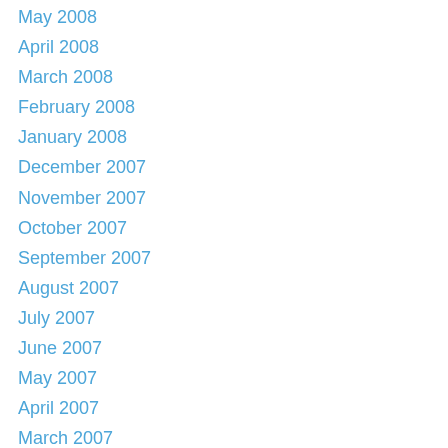May 2008
April 2008
March 2008
February 2008
January 2008
December 2007
November 2007
October 2007
September 2007
August 2007
July 2007
June 2007
May 2007
April 2007
March 2007
February 2007
December 2006
November 2006
October 2006
September 2006